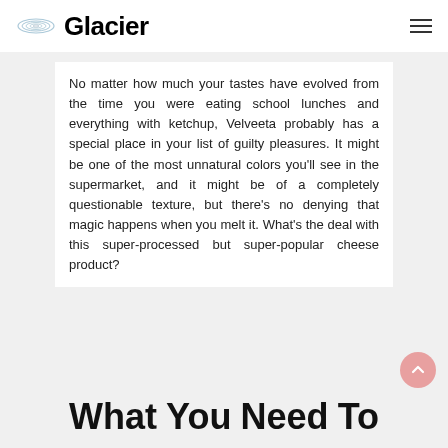Glacier
No matter how much your tastes have evolved from the time you were eating school lunches and everything with ketchup, Velveeta probably has a special place in your list of guilty pleasures. It might be one of the most unnatural colors you'll see in the supermarket, and it might be of a completely questionable texture, but there's no denying that magic happens when you melt it. What's the deal with this super-processed but super-popular cheese product?
What You Need To